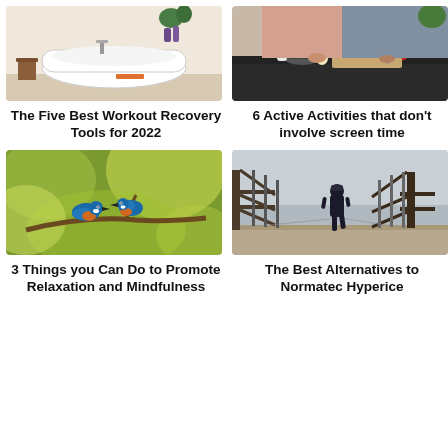[Figure (photo): A white freestanding bathtub in a bright bathroom with a small wooden side table and plants]
The Five Best Workout Recovery Tools for 2022
[Figure (photo): Two people cooking together at a kitchen counter with vegetables and kitchen tools]
6 Active Activities that don't involve screen time
[Figure (photo): Two kingfisher birds perched on a branch with yellow-green blurred foliage background]
3 Things you Can Do to Promote Relaxation and Mindfulness
[Figure (photo): A person walking alone on a wooden bridge with metal truss frame in overcast weather]
The Best Alternatives to Normatec Hyperice